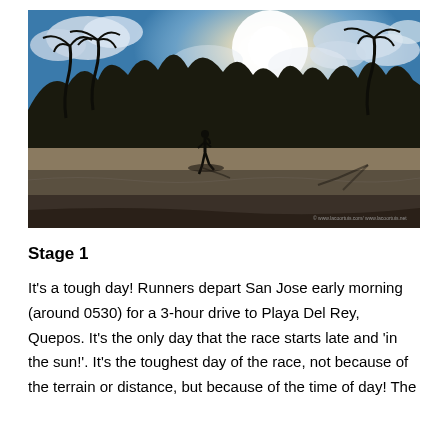[Figure (photo): A runner silhouetted on a wet beach with palm trees and bright sun in the background, dramatic sky with clouds.]
Stage 1
It's a tough day! Runners depart San Jose early morning (around 0530) for a 3-hour drive to Playa Del Rey, Quepos. It's the only day that the race starts late and 'in the sun!'. It's the toughest day of the race, not because of the terrain or distance, but because of the time of day! The